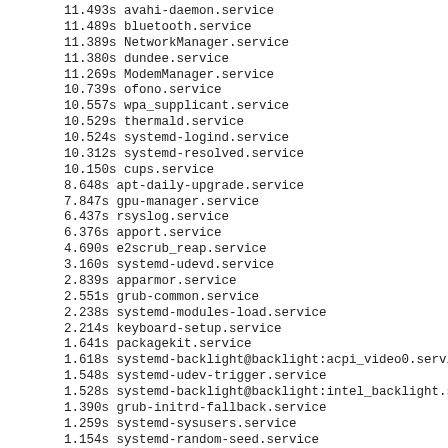11.493s avahi-daemon.service
11.489s bluetooth.service
11.389s NetworkManager.service
11.380s dundee.service
11.269s ModemManager.service
10.739s ofono.service
10.557s wpa_supplicant.service
10.529s thermald.service
10.524s systemd-logind.service
10.312s systemd-resolved.service
10.150s cups.service
8.648s apt-daily-upgrade.service
7.847s gpu-manager.service
6.437s rsyslog.service
6.376s apport.service
4.690s e2scrub_reap.service
3.160s systemd-udevd.service
2.839s apparmor.service
2.551s grub-common.service
2.238s systemd-modules-load.service
2.214s keyboard-setup.service
1.641s packagekit.service
1.618s systemd-backlight@backlight:acpi_video0.service
1.548s systemd-udev-trigger.service
1.528s systemd-backlight@backlight:intel_backlight.service
1.390s grub-initrd-fallback.service
1.259s systemd-sysusers.service
1.154s systemd-random-seed.service
1.085s alsa-restore.service
1.063s ua-timer.service